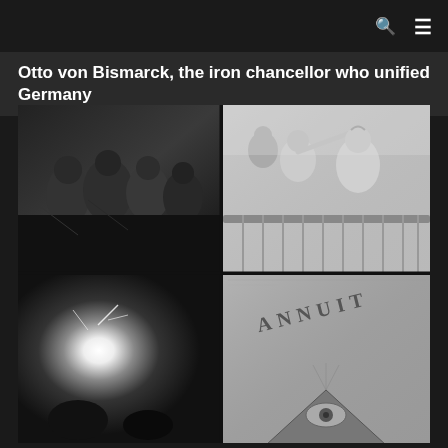Otto von Bismarck, the iron chancellor who unified Germany
[Figure (photo): A collage of four black-and-white historical photographs: top-left shows a group of men in dark uniforms or suits in a crowded scene; top-right shows Victorian-era women in a balcony or theater setting, one with arm extended pointing; bottom-left shows an explosion or fire flash with bright light; bottom-right shows a close-up of a dollar bill featuring the pyramid and all-seeing eye with the word ANNUIT.]